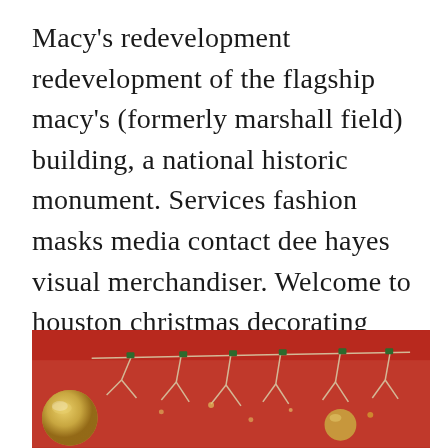Macy's redevelopment redevelopment of the flagship macy's (formerly marshall field) building, a national historic monument. Services fashion masks media contact dee hayes visual merchandiser. Welcome to houston christmas decorating services texas children◆s hospital. I was at macy◆s today and had a pretty pleasant experience. 101 likes · 1 talking about this.
[Figure (photo): A photo showing Christmas decorations including ornaments and branch-like decorations against a red background]